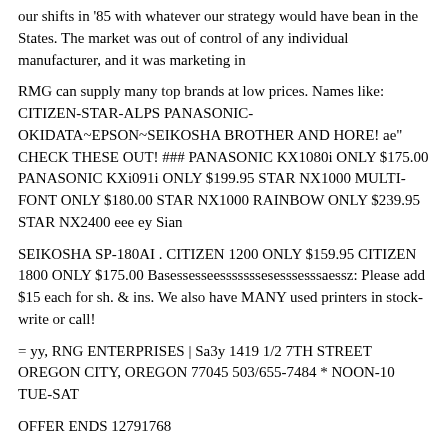our shifts in '85 with whatever our strategy would have bean in the States. The market was out of control of any individual manufacturer, and it was marketing in
RMG can supply many top brands at low prices. Names like: CITIZEN-STAR-ALPS PANASONIC-OKIDATA~EPSON~SEIKOSHA BROTHER AND HORE! ae" CHECK THESE OUT! ### PANASONIC KX1080i ONLY $175.00 PANASONIC KXi091i ONLY $199.95 STAR NX1000 MULTI-FONT ONLY $180.00 STAR NX1000 RAINBOW ONLY $239.95 STAR NX2400 eee ey Sian
SEIKOSHA SP-180AI . CITIZEN 1200 ONLY $159.95 CITIZEN 1800 ONLY $175.00 Basessesseesssssssesesssesssaessz: Please add $15 each for sh. & ins. We also have MANY used printers in stock-write or call!
= yy, RNG ENTERPRISES | Sa3y 1419 1/2 7TH STREET OREGON CITY, OREGON 77045 503/655-7484 * NOON-10 TUE-SAT
OFFER ENDS 12791768
NIGEL SEARLE
which everyone was guranteed to loose money no matter how